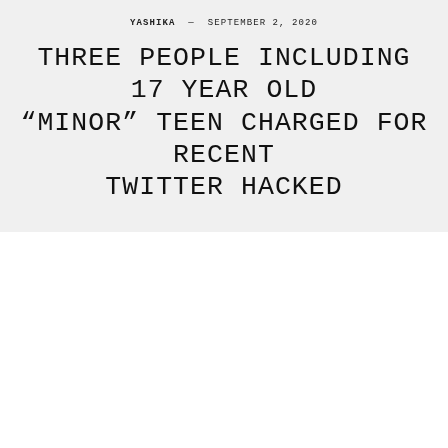YASHIKA — SEPTEMBER 2, 2020
THREE PEOPLE INCLUDING 17 YEAR OLD “MINOR” TEEN CHARGED FOR RECENT TWITTER HACKED